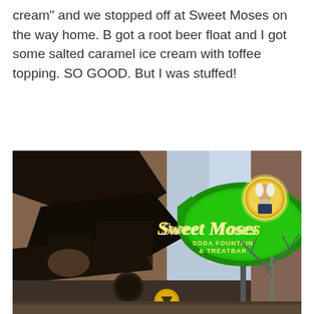cream" and we stopped off at Sweet Moses on the way home. B got a root beer float and I got some salted caramel ice cream with toffee topping. SO GOOD. But I was stuffed!
[Figure (photo): Photo of the Sweet Moses Soda Fountain & Treatbar neon sign on a brick building exterior, with a green and yellow neon sign featuring a portrait logo. Trees and building visible in background.]